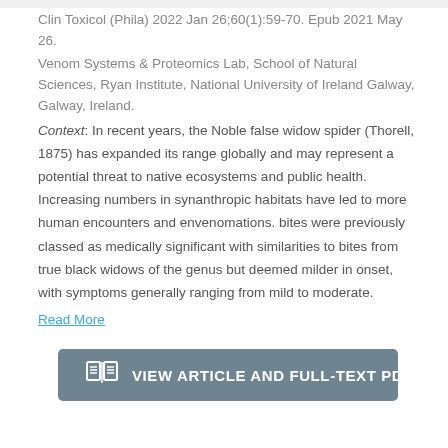Clin Toxicol (Phila) 2022 Jan 26;60(1):59-70. Epub 2021 May 26.
Venom Systems & Proteomics Lab, School of Natural Sciences, Ryan Institute, National University of Ireland Galway, Galway, Ireland.
Context: In recent years, the Noble false widow spider (Thorell, 1875) has expanded its range globally and may represent a potential threat to native ecosystems and public health. Increasing numbers in synanthropic habitats have led to more human encounters and envenomations. bites were previously classed as medically significant with similarities to bites from true black widows of the genus but deemed milder in onset, with symptoms generally ranging from mild to moderate.
Read More
[Figure (other): Button labeled VIEW ARTICLE AND FULL-TEXT PDF with a book/article icon]